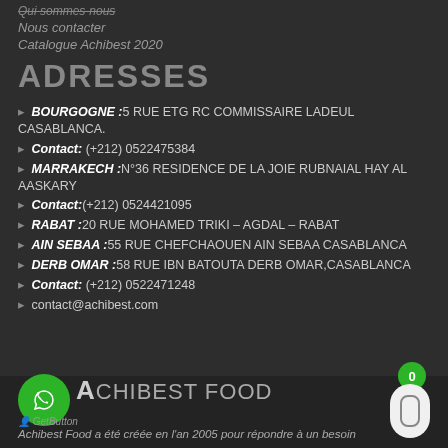Qui sommes-nous
Nous contacter
Catalogue Achibest 2020
ADRESSES
🔸 BOURGOGNE : 5 RUE ETG RC COMMISSAIRE LADEUL CASABLANCA.
🔸 Contact: (+212) 0522475384
🔸 MARRAKECH : N°36 RESIDENCE DE LA JOIE RUBNAIAL HAY AL AASKARY
🔸 Contact:(+212) 0524421095
🔸 RABAT : 20 RUE MOHAMED TRIKI – AGDAL – RABAT
🔸 AIN SEBAA : 55 RUE CHEFCHAOUEN AIN SEBAA CASABLANCA
🔸 DERB OMAR : 58 RUE IBN BATOUTA DERB OMAR,CASABLANCA
🔸 Contact: (+212) 0522471248
🔸 contact@achibest.com
ACHIBEST FOOD
Achibest Food a été créée en l'an 2005 pour répondre à un besoin